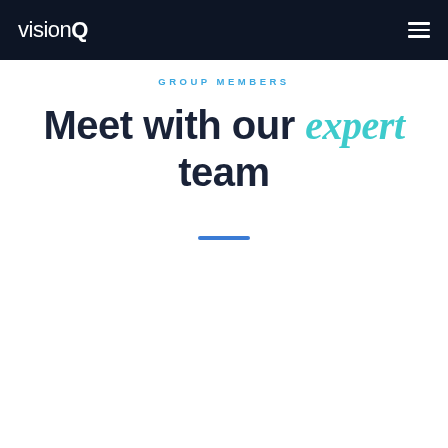visionQ
GROUP MEMBERS
Meet with our expert team
[Figure (photo): Circular portrait photo of a woman with dark hair and bangs, photographed with a light bokeh in the background. The photo is placed over a light blue-grey rounded shape background. Only the upper portion of the photo is visible.]